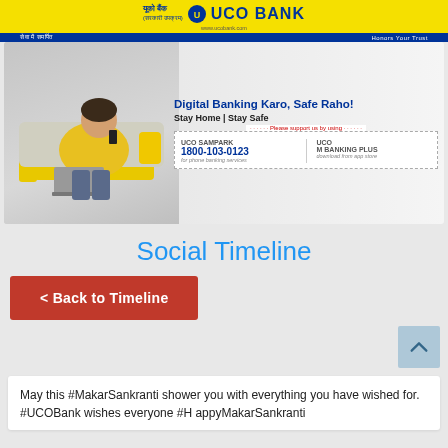UCO BANK - यूको बैंक
[Figure (infographic): UCO Bank advertisement banner showing a woman sitting on sofa with phone and laptop. Text reads: Digital Banking Karo, Safe Raho! Stay Home | Stay Safe. Please support us by using UCO SAMPARK 1800-103-0123 for phone banking services, UCO M BANKING PLUS download from app store.]
Social Timeline
< Back to Timeline
May this #MakarSankranti shower you with everything you have wished for. #UCOBank wishes everyone #HappyMakarSankranti